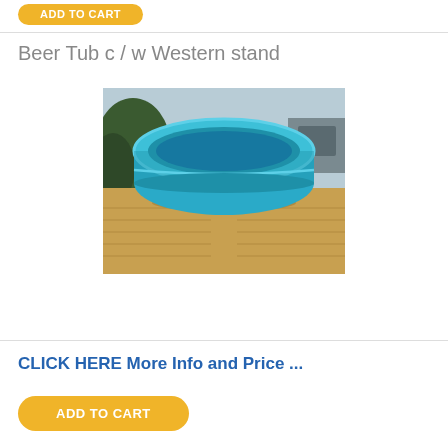[Figure (other): Yellow/gold rounded rectangle ADD TO CART button (partially visible at top)]
Beer Tub c / w Western stand
[Figure (photo): Photo of a blue oval beer tub (plastic) sitting on two hay bales outdoors]
CLICK HERE More Info and Price ...
[Figure (other): Yellow/gold rounded rectangle ADD TO CART button at bottom]